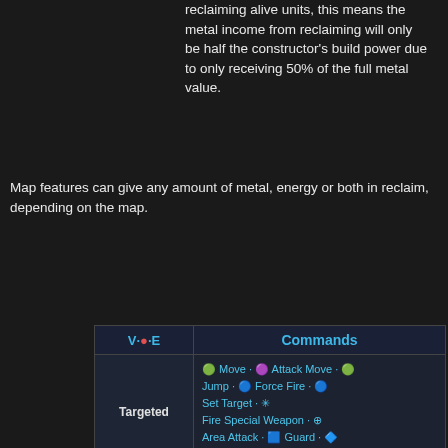reclaiming alive units, this means the metal income from reclaiming will only be half the constructor's build power due to only receiving 50% of the full metal value.
Map features can give any amount of metal, energy or both in reclaim, depending on the map.
| V·T·E | Commands |
| --- | --- |
| Targeted | Move · Attack Move · Jump · Force Fire · Set Target · Fire Special Weapon · Area Attack · Guard · Patrol |
| Economic | Repair · Reclaim · Resurrect · Area Mex · Building placement commands · Factory commands |
|  | Stop · Wait · Detonate |